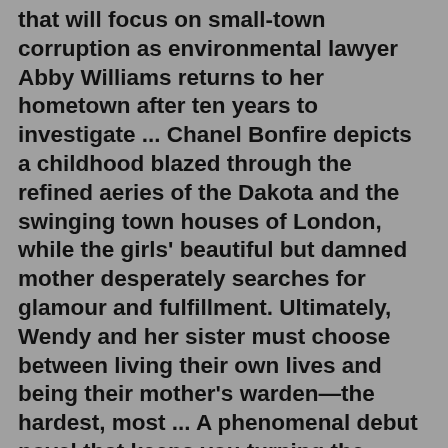that will focus on small-town corruption as environmental lawyer Abby Williams returns to her hometown after ten years to investigate ... Chanel Bonfire depicts a childhood blazed through the refined aeries of the Dakota and the swinging town houses of London, while the girls' beautiful but damned mother desperately searches for glamour and fulfillment. Ultimately, Wendy and her sister must choose between living their own lives and being their mother's warden—the hardest, most ... A phenomenal debut novel that keeps you turning the pages. Bonfire was one of my favorite reads last year and I keep being drawn back to it.Feb 15, 2017 · Titled Bonfire, the debut novel is a psychological thriller that will focus on small-town corruption as environmental lawyer Abby Williams returns to her hometown after ten years to investigate ... Adrienne Celt's Invitation to a Bonfire (256 pages; Bloomsbury) is a novel delightfully unconcerned with passing literary trends. Celt has her eye trained on the past, on both the esteemed literary works... Adrienne Celt's Invitation